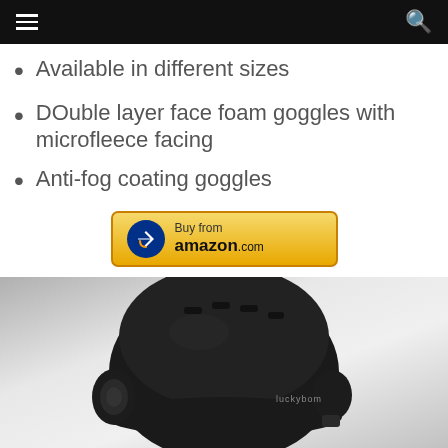Navigation bar with menu and search icons
Available in different sizes
DOuble layer face foam goggles with microfleece facing
Anti-fog coating goggles
[Figure (other): Buy from amazon.com button with blue arrow logo]
[Figure (photo): Black ski/snowboard helmet (Luckytons brand) photographed on light grey gradient background, side view showing ventilation slots and audio speaker]